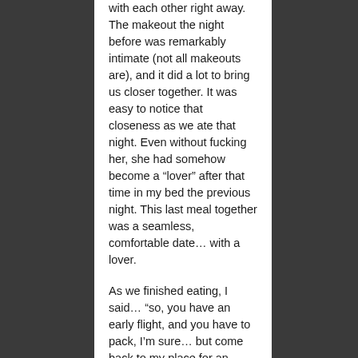with each other right away. The makeout the night before was remarkably intimate (not all makeouts are), and it did a lot to bring us closer together. It was easy to notice that closeness as we ate that night. Even without fucking her, she had somehow become a “lover” after that time in my bed the previous night. This last meal together was a seamless, comfortable date… with a lover.
As we finished eating, I said… “so, you have an early flight, and you have to pack, I’m sure… but come back to my place for an hour.” She gave me a beautiful smile. 30% little girl, 40% happy grown woman, and that final 30% was sexy